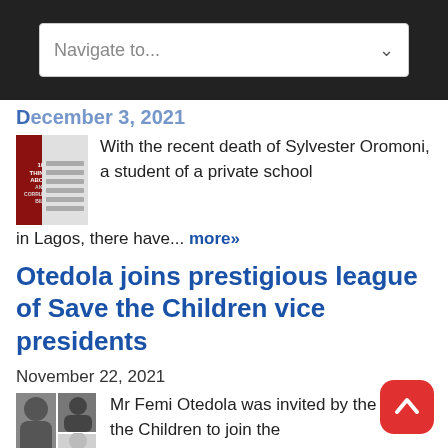[Figure (screenshot): Navigation dropdown widget with 'Navigate to...' placeholder text and chevron icon on dark background header bar]
December 3, 2021 (partial, cropped)
[Figure (photo): Thumbnail image of a book cover (red cover, 10 Things) with text lines graphic beside it]
With the recent death of Sylvester Oromoni, a student of a private school in Lagos, there have... more»
Otedola joins prestigious league of Save the Children vice presidents
November 22, 2021
[Figure (photo): Thumbnail image of three people including Mr Femi Otedola]
Mr Femi Otedola was invited by the Save the Children to join the prestigious group ... more»